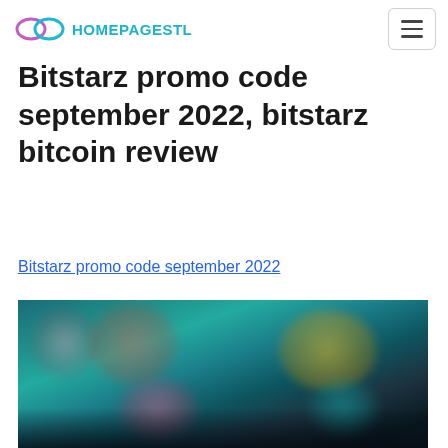HOMEPAGESTL
Bitstarz promo code september 2022, bitstarz bitcoin review
Bitstarz promo code september 2022
[Figure (screenshot): Blurred screenshot of the Bitstarz casino website showing game thumbnails on a dark teal/blue background.]